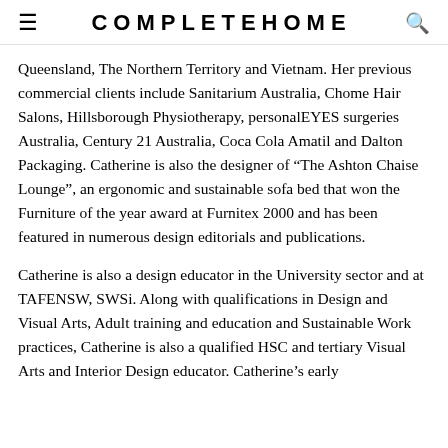COMPLETEHOME
Queensland, The Northern Territory and Vietnam. Her previous commercial clients include Sanitarium Australia, Chome Hair Salons, Hillsborough Physiotherapy, personalEYES surgeries Australia, Century 21 Australia, Coca Cola Amatil and Dalton Packaging. Catherine is also the designer of “The Ashton Chaise Lounge”, an ergonomic and sustainable sofa bed that won the Furniture of the year award at Furnitex 2000 and has been featured in numerous design editorials and publications.
Catherine is also a design educator in the University sector and at TAFENSW, SWSi. Along with qualifications in Design and Visual Arts, Adult training and education and Sustainable Work practices, Catherine is also a qualified HSC and tertiary Visual Arts and Interior Design educator. Catherine’s early